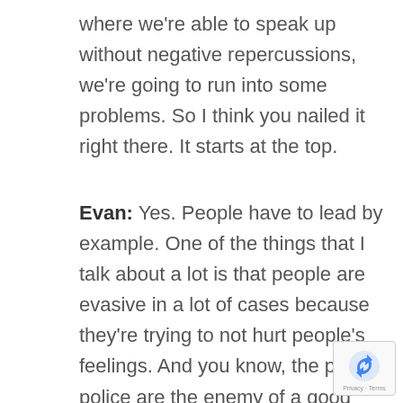where we're able to speak up without negative repercussions, we're going to run into some problems. So I think you nailed it right there. It starts at the top.
Evan: Yes. People have to lead by example. One of the things that I talk about a lot is that people are evasive in a lot of cases because they're trying to not hurt people's feelings. And you know, the polite police are the enemy of a good meeting. What advice do you give to employees to unmute themselves? How do I go about
[Figure (logo): reCAPTCHA badge with Privacy and Terms text]